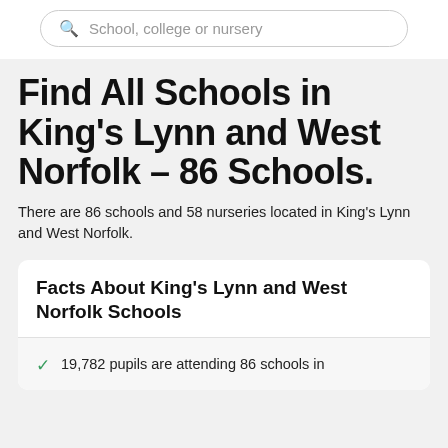[Figure (screenshot): Search box with magnifying glass icon and placeholder text 'School, college or nursery']
Find All Schools in King's Lynn and West Norfolk – 86 Schools.
There are 86 schools and 58 nurseries located in King's Lynn and West Norfolk.
Facts About King's Lynn and West Norfolk Schools
19,782 pupils are attending 86 schools in